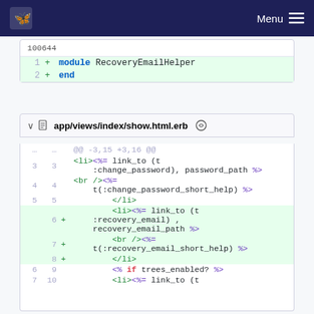Menu
100644
1  + module RecoveryEmailHelper
2  + end
app/views/index/show.html.erb
@@ -3,15 +3,16 @@
3  3      <li><%= link_to (t
         :change_password), password_path %>
4  4      <br /><%= t(:change_password_short_help) %>
5  5      </li>
   6  +   <li><%= link_to (t
         :recovery_email) ,
         recovery_email_path %>
   7  +   <br /><%= t(:recovery_email_short_help) %>
   8  +   </li>
6  9      <% if trees_enabled? %>
7  10     <li><%= link_to (t